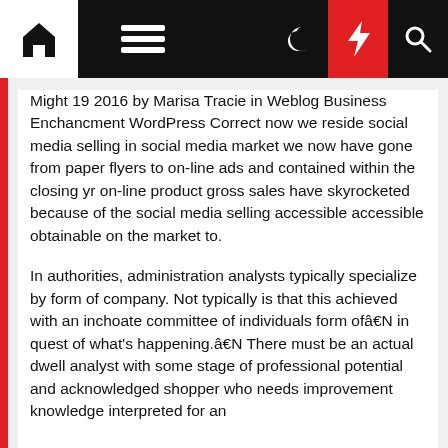Navigation bar with home, menu, dark mode, flash, and search icons
Might 19 2016 by Marisa Tracie in Weblog Business Enchancment WordPress Correct now we reside social media selling in social media market we now have gone from paper flyers to on-line ads and contained within the closing yr on-line product gross sales have skyrocketed because of the social media selling accessible accessible obtainable on the market to.
In authorities, administration analysts typically specialize by form of company. Not typically is that this achieved with an inchoate committee of individuals form ofâ€N in quest of what's happening.â€N There must be an actual dwell analyst with some stage of professional potential and acknowledged shopper who needs improvement knowledge interpreted for an